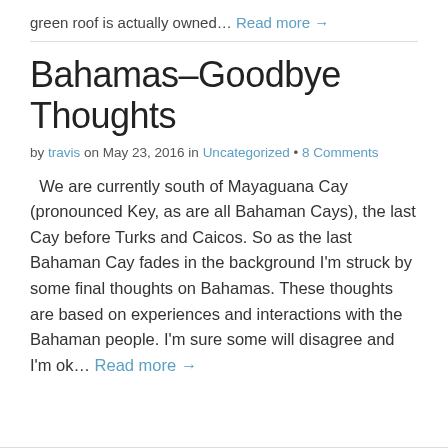green roof is actually owned… Read more →
Bahamas–Goodbye Thoughts
by travis on May 23, 2016 in Uncategorized • 8 Comments
We are currently south of Mayaguana Cay (pronounced Key, as are all Bahaman Cays), the last Cay before Turks and Caicos. So as the last Bahaman Cay fades in the background I'm struck by some final thoughts on Bahamas. These thoughts are based on experiences and interactions with the Bahaman people. I'm sure some will disagree and I'm ok… Read more →